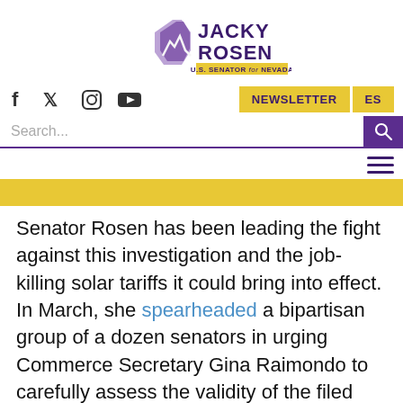[Figure (logo): Jacky Rosen U.S. Senator for Nevada logo with purple Nevada state outline and mountain silhouette]
[Figure (infographic): Navigation bar with Facebook, Twitter, Instagram, YouTube social icons and NEWSLETTER and ES buttons in yellow]
[Figure (screenshot): Search bar with purple search button and hamburger menu icon]
[Figure (infographic): Yellow accent bar]
Senator Rosen has been leading the fight against this investigation and the job-killing solar tariffs it could bring into effect. In March, she spearheaded a bipartisan group of a dozen senators in urging Commerce Secretary Gina Raimondo to carefully assess the validity of the filed petition to investigate and expand solar tariffs. Following the news that the Department of Commerce decided to investigate,